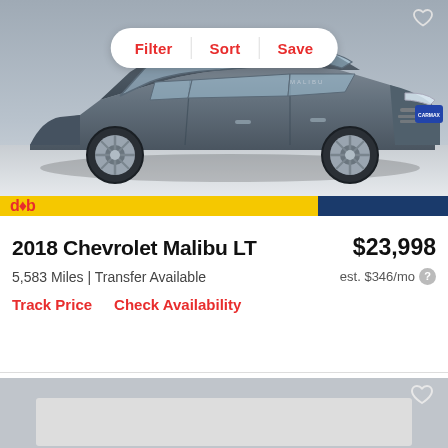[Figure (photo): Gray 2018 Chevrolet Malibu LT sedan photographed from a front three-quarter angle on a white/gray studio floor background. A Filter | Sort | Save pill button overlay appears near the top center of the image.]
Filter  Sort  Save
2018 Chevrolet Malibu LT  $23,998
5,583 Miles | Transfer Available  est. $346/mo
Track Price  Check Availability